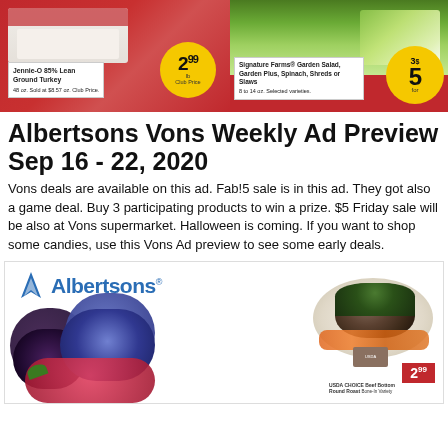[Figure (photo): Albertsons/Vons weekly ad top banner showing Jennie-O 85% Lean Ground Turkey at $2.99/lb Club Price and Signature Farms Garden Salad 3 for $5 on red background]
Albertsons Vons Weekly Ad Preview Sep 16 - 22, 2020
Vons deals are available on this ad. Fab!5 sale is in this ad. They got also a game deal. Buy 3 participating products to win a prize. $5 Friday sale will be also at Vons supermarket. Halloween is coming. If you want to shop some candies, use this Vons Ad preview to see some early deals.
[Figure (photo): Albertsons weekly ad second page showing Albertsons logo with berries (blackberries, blueberries, raspberries) and USDA Choice Beef Bottom Round Roast at $2.99/lb]